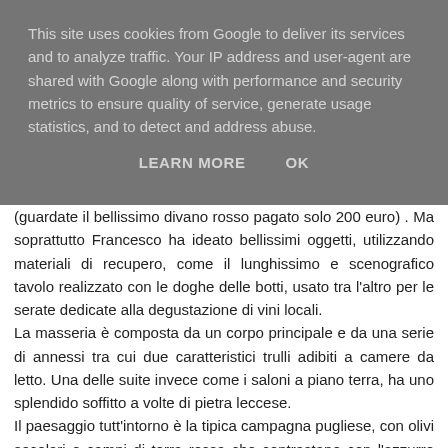This site uses cookies from Google to deliver its services and to analyze traffic. Your IP address and user-agent are shared with Google along with performance and security metrics to ensure quality of service, generate usage statistics, and to detect and address abuse.
LEARN MORE    OK
(guardate il bellissimo divano rosso pagato solo 200 euro) . Ma soprattutto Francesco ha ideato bellissimi oggetti, utilizzando materiali di recupero, come il lunghissimo e scenografico tavolo realizzato con le doghe delle botti, usato tra l'altro per le serate dedicate alla degustazione di vini locali.
La masseria è composta da un corpo principale e da una serie di annessi tra cui due caratteristici trulli adibiti a camere da letto. Una delle suite invece come i saloni a piano terra, ha uno splendido soffitto a volte di pietra leccese.
Il paesaggio tutt'intorno è la tipica campagna pugliese, con olivi secolari e campi di terra rossa che contrastano con l'azzurro del cielo ad un passo dal mare .
Vino, paesaggio, cultura e molto altro.